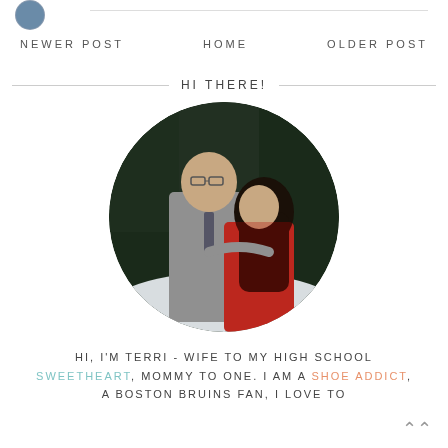[Figure (photo): Circular cropped photo of a couple standing outdoors in a snowy forest setting. A man in a grey shirt and tie looks down at a woman in a red lace top with long dark hair.]
NEWER POST   HOME   OLDER POST
HI THERE!
HI, I'M TERRI - WIFE TO MY HIGH SCHOOL SWEETHEART, MOMMY TO ONE. I AM A SHOE ADDICT, A BOSTON BRUINS FAN, I LOVE TO